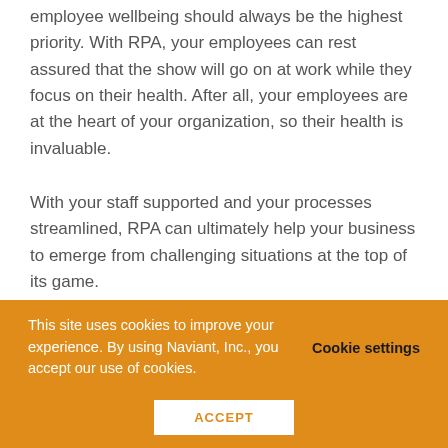employee wellbeing should always be the highest priority. With RPA, your employees can rest assured that the show will go on at work while they focus on their health. After all, your employees are at the heart of your organization, so their health is invaluable.
With your staff supported and your processes streamlined, RPA can ultimately help your business to emerge from challenging situations at the top of its game.
This site uses cookies to improve your experience. By using Naviant, Inc., you accept our use of cookies. Cookie settings ACCEPT